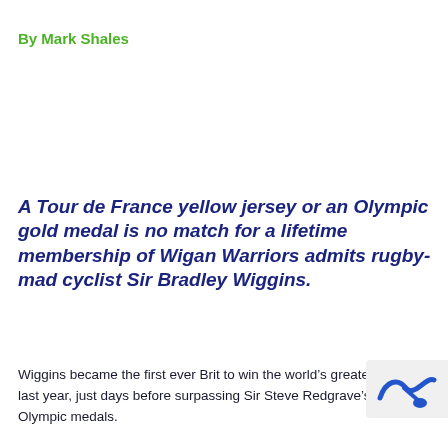By Mark Shales
A Tour de France yellow jersey or an Olympic gold medal is no match for a lifetime membership of Wigan Warriors admits rugby-mad cyclist Sir Bradley Wiggins.
Wiggins became the first ever Brit to win the world’s greatest bike race last year, just days before surpassing Sir Steve Redgrave’s tally of Olympic medals.
And despite capping off the year with a knighthood, the current
[Figure (logo): Partial watermark/logo image in bottom right corner]